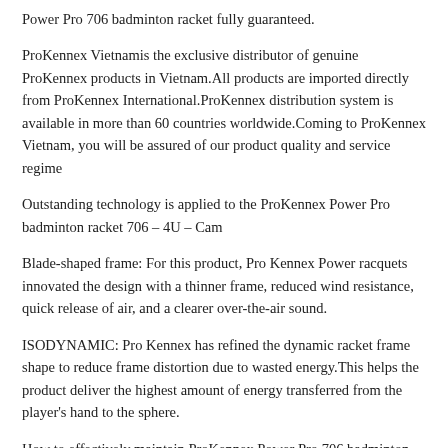Power Pro 706 badminton racket fully guaranteed.
ProKennex Vietnamis the exclusive distributor of genuine ProKennex products in Vietnam.All products are imported directly from ProKennex International.ProKennex distribution system is available in more than 60 countries worldwide.Coming to ProKennex Vietnam, you will be assured of our product quality and service regime
Outstanding technology is applied to the ProKennex Power Pro badminton racket 706 – 4U – Cam
Blade-shaped frame: For this product, Pro Kennex Power racquets innovated the design with a thinner frame, reduced wind resistance, quick release of air, and a clearer over-the-air sound.
ISODYNAMIC: Pro Kennex has refined the dynamic racket frame shape to reduce frame distortion due to wasted energy.This helps the product deliver the highest amount of energy transferred from the player's hand to the sphere.
How to effectively maintain ProKennex Power Pro 706 badminton rackets for players